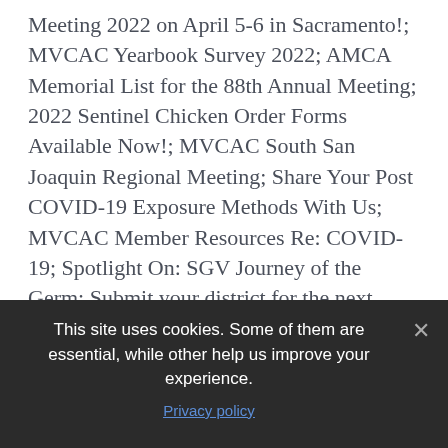Meeting 2022 on April 5-6 in Sacramento!; MVCAC Yearbook Survey 2022; AMCA Memorial List for the 88th Annual Meeting; 2022 Sentinel Chicken Order Forms Available Now!; MVCAC South San Joaquin Regional Meeting; Share Your Post COVID-19 Exposure Methods With Us; MVCAC Member Resources Re: COVID-19; Spotlight On: SGV Journey of the Germ; Submit your district for the next Spotlight On; HR resources for districts to use and to upload information into; MVCAC News Briefs – Giant Asian Hornets; MVCAC News Briefs – Zika Updates; MVCAC News Briefs – Other Outbreaks; Do you have important news to share about your district or mosquito and vector issues?; MVCAC Jobs Board;
This site uses cookies. Some of them are essential, while other help us improve your experience.